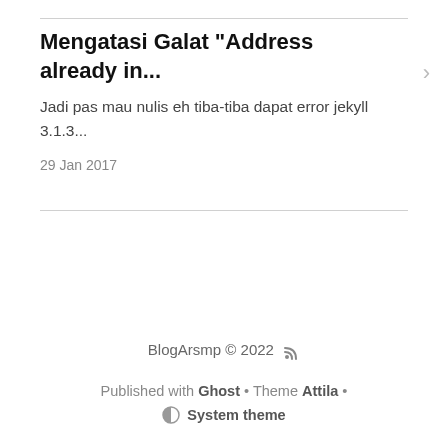Mengatasi Galat "Address already in...
Jadi pas mau nulis eh tiba-tiba dapat error jekyll 3.1.3...
29 Jan 2017
BlogArsmp © 2022
Published with Ghost • Theme Attila • System theme